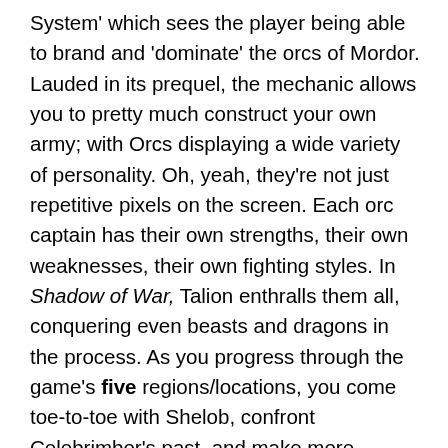System' which sees the player being able to brand and 'dominate' the orcs of Mordor. Lauded in its prequel, the mechanic allows you to pretty much construct your own army; with Orcs displaying a wide variety of personality. Oh, yeah, they're not just repetitive pixels on the screen. Each orc captain has their own strengths, their own weaknesses, their own fighting styles. In Shadow of War, Talion enthralls them all, conquering even beasts and dragons in the process. As you progress through the game's five regions/locations, you come toe-to-toe with Shelob, confront Celebrimbor's past, and make more humane allies to help you in your ultimate quest to vanquish evil. The game is set, as one may assume, a few decades before The Lord of the Rings: The Fellowship of the Ring. And yes, the homages are uncountable.